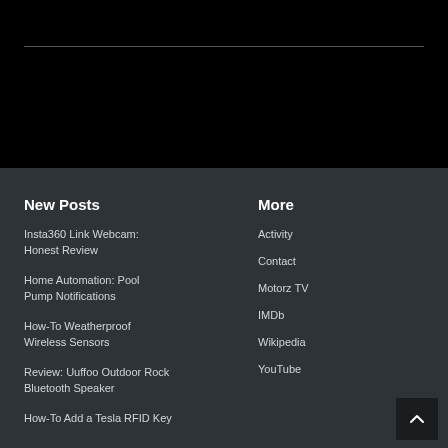New Posts
Insta360 Link Webcam: Honest Review
Home Automation: Pool Pump Notifications
How-To Weatherproof Wireless Sensors
Review: Uuffoo Outdoor Rock Bluetooth Speaker
How-To Add a Tesla RFID Key
More
Activity
Contact
Motorz TV
IMDb
Wikipedia
YouTube